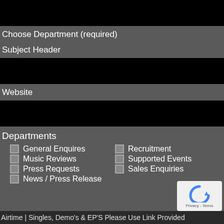Choose Department (required)
Subject Header
Website
Departments
General Enquires
Recruitment
Music Reviews
Supported Events
Press Requests
Sales Enquiries
News / Press Release
Airtime | Singles, Demo's & EP'S Please Use Link Provided